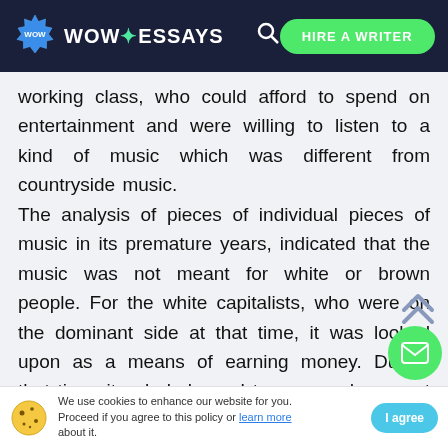WOW ESSAYS | HIRE A WRITER
working class, who could afford to spend on entertainment and were willing to listen to a kind of music which was different from countryside music. The analysis of pieces of individual pieces of music in its premature years, indicated that the music was not meant for white or brown people. For the white capitalists, who were on the dominant side at that time, it was looked upon as a means of earning money. During that time, it only belonged to poor and was not having respectable status in the majority of midd
We use cookies to enhance our website for you. Proceed if you agree to this policy or learn more about it. I agree